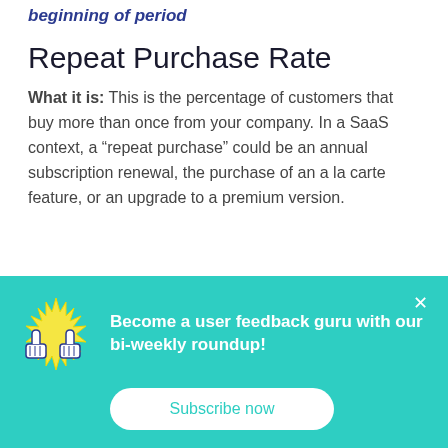beginning of period
Repeat Purchase Rate
What it is: This is the percentage of customers that buy more than once from your company. In a SaaS context, a “repeat purchase” could be an annual subscription renewal, the purchase of an a la carte feature, or an upgrade to a premium version.
[Figure (illustration): Thumbs up illustration with star burst background, used in a teal subscription banner]
Become a user feedback guru with our bi-weekly roundup!
Subscribe now